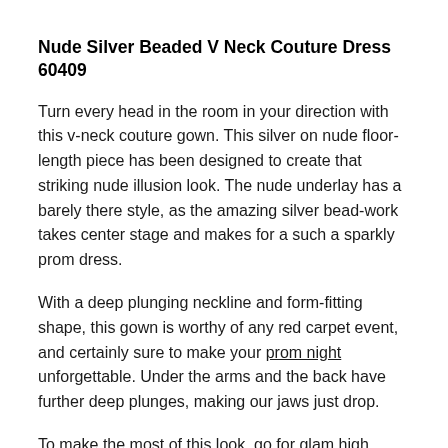Nude Silver Beaded V Neck Couture Dress 60409
Turn every head in the room in your direction with this v-neck couture gown. This silver on nude floor-length piece has been designed to create that striking nude illusion look. The nude underlay has a barely there style, as the amazing silver bead-work takes center stage and makes for a such a sparkly prom dress.
With a deep plunging neckline and form-fitting shape, this gown is worthy of any red carpet event, and certainly sure to make your prom night unforgettable. Under the arms and the back have further deep plunges, making our jaws just drop.
To make the most of this look, go for glam high heels in a neutral tone (beige or gray). Add blushy/dewy makeup with a